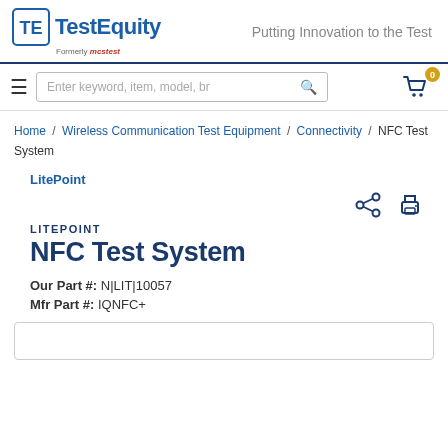[Figure (logo): TestEquity logo with TE icon, text 'TestEquity', tagline 'Putting Innovation to the Test', formerly mcstest]
[Figure (screenshot): Navigation bar with hamburger menu, search box 'Enter keyword, item, model, br...', search icon, and shopping cart icon with badge '0']
Home / Wireless Communication Test Equipment / Connectivity / NFC Test System
LitePoint
[Figure (illustration): Share icon and print icon on the right side]
LITEPOINT
NFC Test System
Our Part #: N|LIT|10057
Mfr Part #: IQNFC+